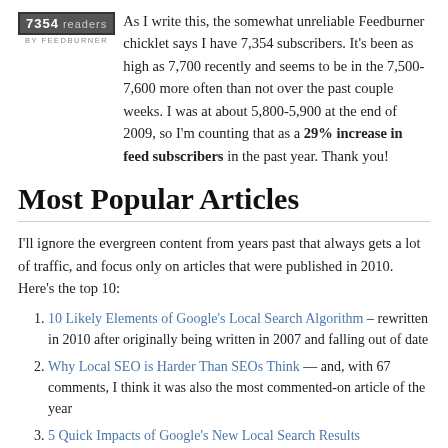[Figure (other): Feedburner chicklet badge showing 7354 readers, by Feedburner]
As I write this, the somewhat unreliable Feedburner chicklet says I have 7,354 subscribers. It's been as high as 7,700 recently and seems to be in the 7,500-7,600 more often than not over the past couple weeks. I was at about 5,800-5,900 at the end of 2009, so I'm counting that as a 29% increase in feed subscribers in the past year. Thank you!
Most Popular Articles
I'll ignore the evergreen content from years past that always gets a lot of traffic, and focus only on articles that were published in 2010. Here's the top 10:
10 Likely Elements of Google's Local Search Algorithm – rewritten in 2010 after originally being written in 2007 and falling out of date
Why Local SEO is Harder Than SEOs Think — and, with 67 comments, I think it was also the most commented-on article of the year
5 Quick Impacts of Google's New Local Search Results